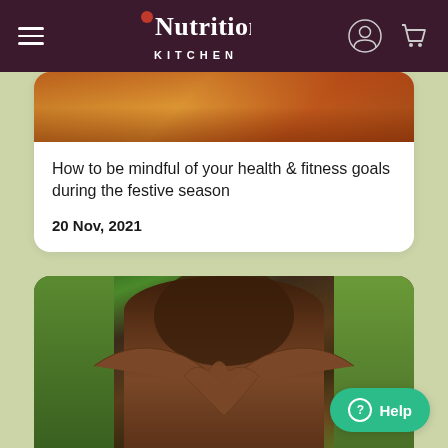Nutrition Kitchen — navigation header with hamburger menu and cart icon
[Figure (photo): Warm-toned food/festive background image at top of article card]
How to be mindful of your health & fitness goals during the festive season
20 Nov, 2021
[Figure (photo): Person in black athletic wear holding hands in a heart shape over their stomach, outdoors on green background]